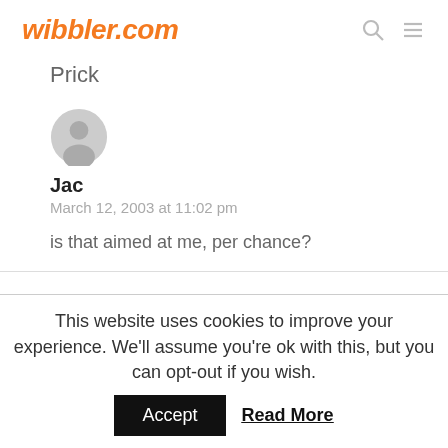wibbler.com
Prick
[Figure (illustration): Gray default user avatar circle with person silhouette]
Jac
March 12, 2003 at 11:02 pm
is that aimed at me, per chance?
This website uses cookies to improve your experience. We'll assume you're ok with this, but you can opt-out if you wish.